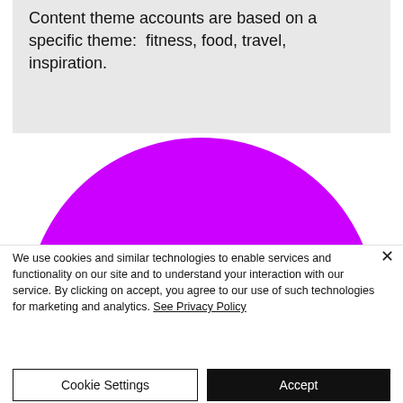Content theme accounts are based on a specific theme:  fitness, food, travel, inspiration.
[Figure (illustration): A large purple semicircle with a strip of photo thumbnails (fitness, food, travel, nature scenes) along the flat bottom edge.]
We use cookies and similar technologies to enable services and functionality on our site and to understand your interaction with our service. By clicking on accept, you agree to our use of such technologies for marketing and analytics. See Privacy Policy
Cookie Settings
Accept